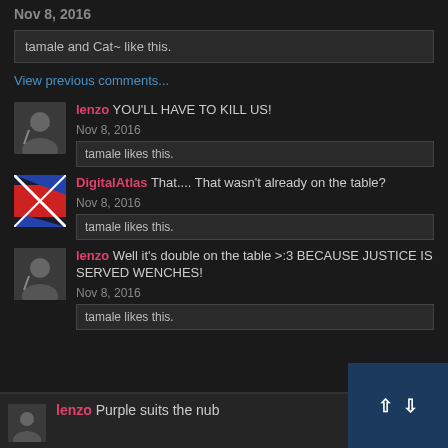Nov 8, 2016
tamale and Cat~ like this.
View previous comments...
lenzo YOU'LL HAVE TO KILL US!
Nov 8, 2016
tamale likes this.
DigitalAtlas That.... That wasn't already on the table?
Nov 8, 2016
tamale likes this.
lenzo Well it's double on the table >:3 BECAUSE JUSTICE IS SERVED WENCHES!
Nov 8, 2016
tamale likes this.
lenzo Purple suits the nub